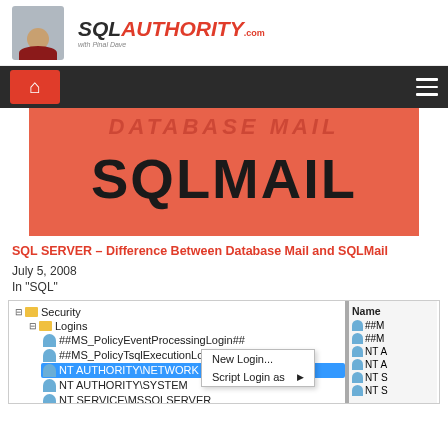SQL AUTHORITY
[Figure (screenshot): SQL Server Management Studio Security tree showing Logins with NT AUTHORITY\NETWORK SERVICE selected and context menu with New Login and Script Login as options]
SQL SERVER – Difference Between Database Mail and SQLMail
July 5, 2008
In "SQL"
[Figure (screenshot): SQL Server Management Studio object explorer showing Security > Logins tree with NT AUTHORITY\NETWORK SERVICE highlighted and right-click context menu showing New Login and Script Login as options, alongside a Name panel on the right]